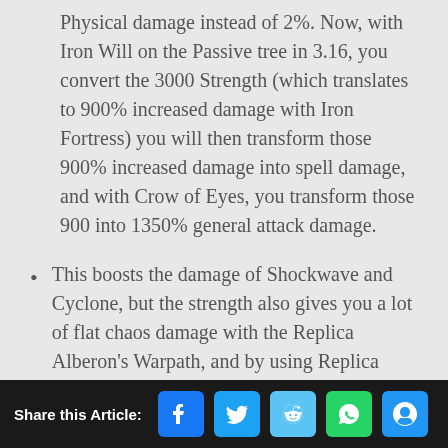Physical damage instead of 2%. Now, with Iron Will on the Passive tree in 3.16, you convert the 3000 Strength (which translates to 900% increased damage with Iron Fortress) you will then transform those 900% increased damage into spell damage, and with Crow of Eyes, you transform those 900 into 1350% general attack damage.
This boosts the damage of Shockwave and Cyclone, but the strength also gives you a lot of flat chaos damage with the Replica Alberon's Warpath, and by using Replica Frostbreath, any
Share this Article: [Facebook] [Twitter] [Reddit] [WhatsApp] [Email]